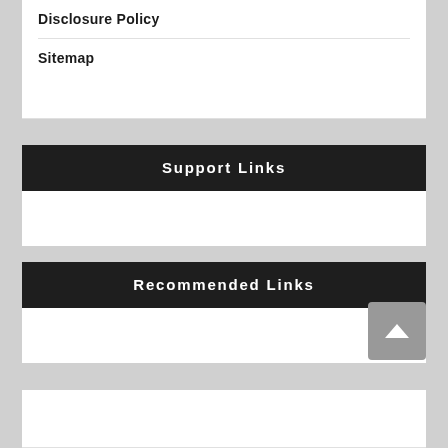Disclosure Policy
Sitemap
Support Links
Recommended Links